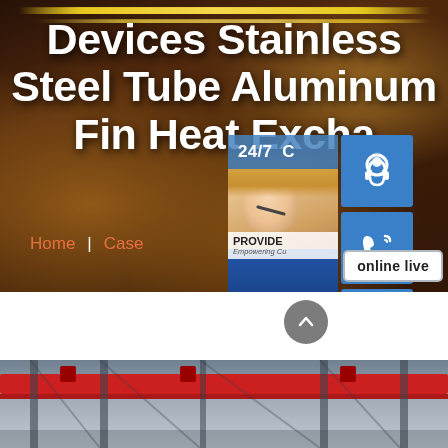[Figure (photo): Hero banner with dark industrial background showing metal/workshop scene with neon yellow light streaks. White bold title text reads 'Devices Stainless Steel Tube Aluminum Fin Heat Excha...' with navigation links 'Home | Case' in orange. Right side overlay shows customer support widget with 24/7 banner, headset icon, phone icon, Skype icon, customer service photo, PROVIDE/Empowering Customers text, and 'online live' button.]
[Figure (photo): Bottom strip showing interior of industrial factory/warehouse with red overhead crane beam against grey structural ceiling.]